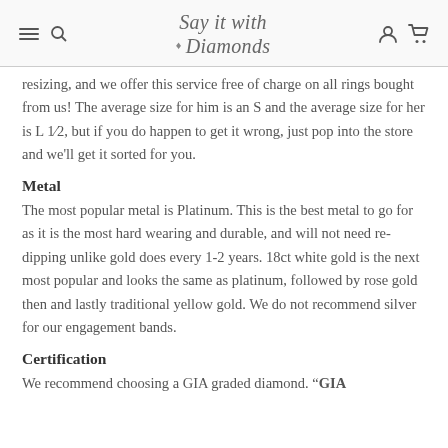Say it with Diamonds
resizing, and we offer this service free of charge on all rings bought from us! The average size for him is an S and the average size for her is L 1/2, but if you do happen to get it wrong, just pop into the store and we'll get it sorted for you.
Metal
The most popular metal is Platinum. This is the best metal to go for as it is the most hard wearing and durable, and will not need re-dipping unlike gold does every 1-2 years. 18ct white gold is the next most popular and looks the same as platinum, followed by rose gold then and lastly traditional yellow gold. We do not recommend silver for our engagement bands.
Certification
We recommend choosing a GIA graded diamond. "GIA